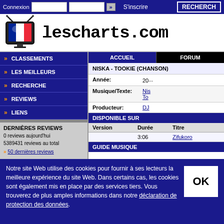Connexion | S'inscrire | RECHERCHE
[Figure (logo): lescharts.com logo with TV icon and French flag]
CLASSEMENTS
LES MEILLEURS
RECHERCHE
REVIEWS
LIENS
DERNIÈRES REVIEWS
0 reviews aujourd'hui
5389431 reviews au total
50 dernières reviews
ACCUEIL | FORUM
NISKA - TOOKIE (CHANSON)
|  |  |
| --- | --- |
| Année: | 20... |
| Musique/Texte: | Nis... To... |
| Producteur: | DJ... |
DISPONIBLE SUR
| Version | Durée | Titre |
| --- | --- | --- |
|  | 3:06 | Zifukoro |
GUIDE MUSIQUE
Notre site Web utilise des cookies pour fournir à ses lecteurs la meilleure expérience du site Web. Dans certains cas, les cookies sont également mis en place par des services tiers. Vous trouverez de plus amples informations dans notre déclaration de protection des données.